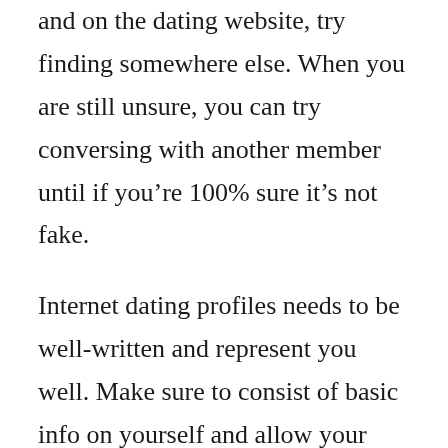and on the dating website, try finding somewhere else. When you are still unsure, you can try conversing with another member until if you're 100% sure it's not fake.
Internet dating profiles needs to be well-written and represent you well. Make sure to consist of basic info on yourself and allow your personality shine through. You want to come across as honest and reliable to your potential complements. This way, online dating can save you a substantial amount of